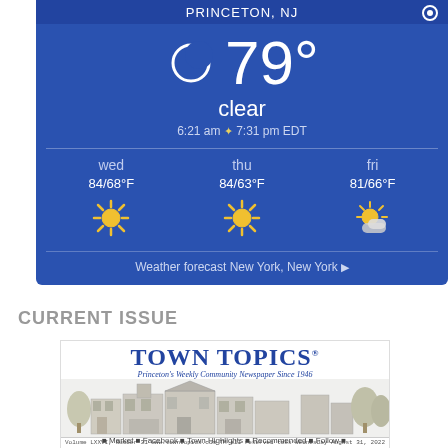[Figure (screenshot): Weather widget showing Princeton, NJ weather. Current temperature 79°F, clear skies. Sunrise 6:21am, Sunset 7:31pm EDT. 3-day forecast: Wed 84/68°F sunny, Thu 84/63°F sunny, Fri 81/66°F partly cloudy. Link to Weather forecast New York, New York.]
CURRENT ISSUE
[Figure (screenshot): Town Topics newspaper cover - Princeton's Weekly Community Newspaper Since 1946. Shows masthead with town illustration. Footer shows Volume LXXVI Number 31, www.towntopics.com, All rights reserved, Wednesday August 31, 2022.]